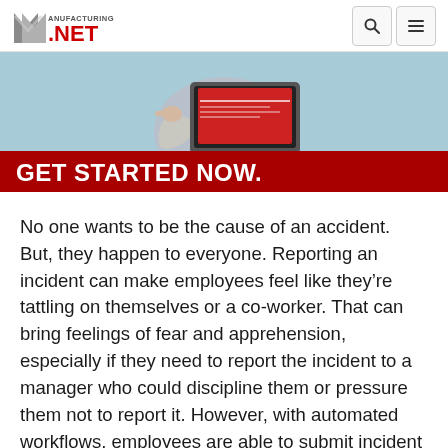Manufacturing.net
[Figure (photo): Person holding a laptop computer pointing at the screen, with a red banner reading GET STARTED NOW. at the bottom]
No one wants to be the cause of an accident. But, they happen to everyone. Reporting an incident can make employees feel like they’re tattling on themselves or a co-worker. That can bring feelings of fear and apprehension, especially if they need to report the incident to a manager who could discipline them or pressure them not to report it. However, with automated workflows, employees are able to submit incident reports privately and